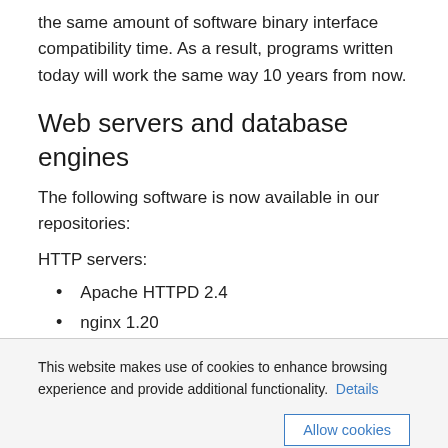the same amount of software binary interface compatibility time. As a result, programs written today will work the same way 10 years from now.
Web servers and database engines
The following software is now available in our repositories:
HTTP servers:
Apache HTTPD 2.4
nginx 1.20
This website makes use of cookies to enhance browsing experience and provide additional functionality. Details
Allow cookies